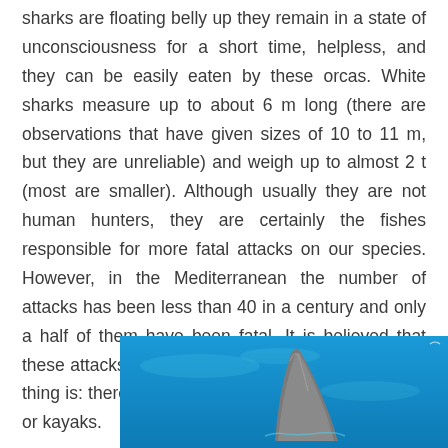sharks are floating belly up they remain in a state of unconsciousness for a short time, helpless, and they can be easily eaten by these orcas. White sharks measure up to about 6 m long (there are observations that have given sizes of 10 to 11 m, but they are unreliable) and weigh up to almost 2 t (most are smaller). Although usually they are not human hunters, they are certainly the fishes responsible for more fatal attacks on our species. However, in the Mediterranean the number of attacks has been less than 40 in a century and only a half of them have been fatal. It is believed that these attacks are actually bite-tests to see what this thing is: there have been attacks against surfboards or kayaks.
[Figure (photo): Underwater photo of a shark fin breaking the surface against a bright blue water background.]